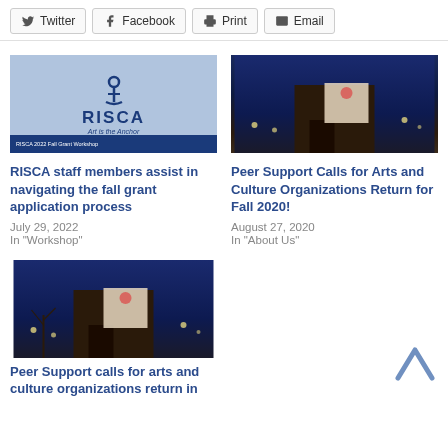Twitter | Facebook | Print | Email
[Figure (photo): RISCA logo with anchor on blue background, RISCA 2022 Fall Grant Workshop text at bottom]
RISCA staff members assist in navigating the fall grant application process
July 29, 2022
In "Workshop"
[Figure (photo): Night photo of building with mural showing figure with flag]
Peer Support Calls for Arts and Culture Organizations Return for Fall 2020!
August 27, 2020
In "About Us"
[Figure (photo): Night photo of building with mural showing figure with flag]
Peer Support calls for arts and culture organizations return in